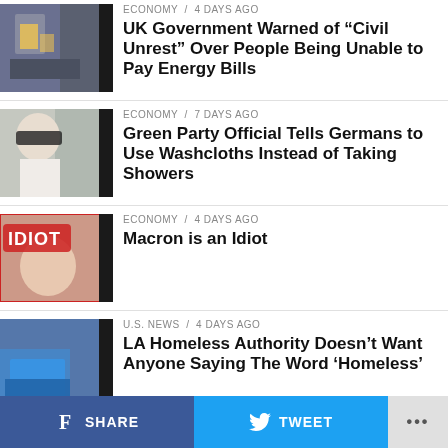[Figure (photo): Thumbnail image of crowd/protest scene with police]
ECONOMY / 4 days ago
UK Government Warned of “Civil Unrest” Over People Being Unable to Pay Energy Bills
[Figure (photo): Thumbnail of older man in sunglasses]
ECONOMY / 7 days ago
Green Party Official Tells Germans to Use Washcloths Instead of Taking Showers
[Figure (photo): Thumbnail of person with IDIOT stamp overlay]
ECONOMY / 4 days ago
Macron is an Idiot
[Figure (photo): Thumbnail of blue tarp homeless encampment scene]
U.S. NEWS / 4 days ago
LA Homeless Authority Doesn’t Want Anyone Saying The Word ‘Homeless’
[Figure (photo): Thumbnail of colorful ribbons/flags]
LGBT / 6 days ago
Wisconsin School Votes to Ban
f SHARE   [twitter] TWEET   ...